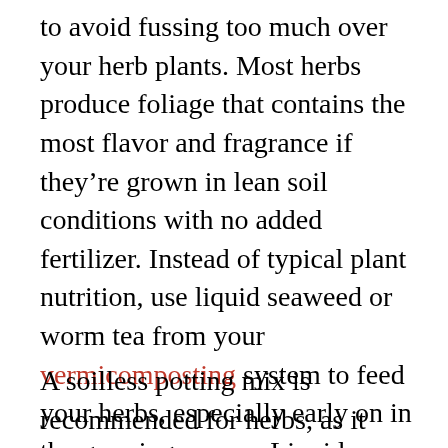to avoid fussing too much over your herb plants. Most herbs produce foliage that contains the most flavor and fragrance if they're grown in lean soil conditions with no added fertilizer. Instead of typical plant nutrition, use liquid seaweed or worm tea from your vermicomposting system to feed your herbs, especially early on in the growing season. Liquid seaweed and worm tea both provide the minerals and trace elements that your herbs need to produce thick, lush plants instead of weak, spindly ones.
A soilless potting mix is recommended for herbs, as it provides great drainage and ample space for roots to spread out as plants grow. Avoid overwatering as well, as most herbs thrive in relatively dry conditions. Do not overwater, which leads to root...